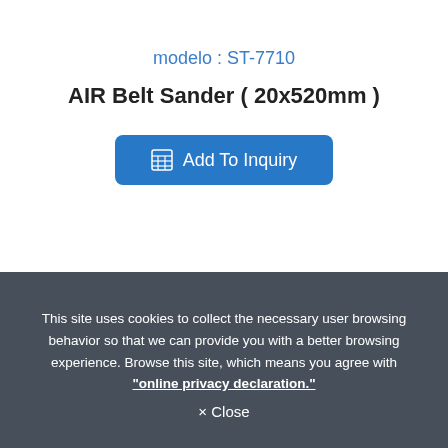modelo : ST-7710
AIR Belt Sander ( 20x520mm )
[Figure (other): Blue 'Add To Inquiry' button with a grid/table icon]
This site uses cookies to collect the necessary user browsing behavior so that we can provide you with a better browsing experience. Browse this site, which means you agree with "online privacy declaration."
× Close